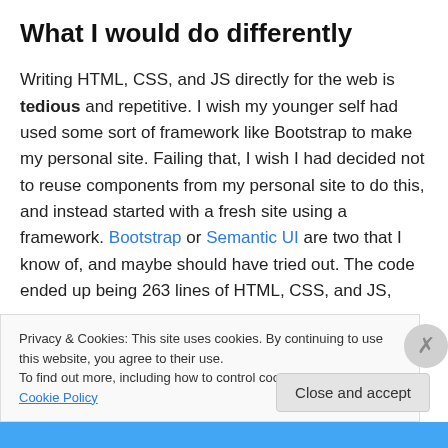What I would do differently
Writing HTML, CSS, and JS directly for the web is tedious and repetitive. I wish my younger self had used some sort of framework like Bootstrap to make my personal site. Failing that, I wish I had decided not to reuse components from my personal site to do this, and instead started with a fresh site using a framework. Bootstrap or Semantic UI are two that I know of, and maybe should have tried out. The code ended up being 263 lines of HTML, CSS, and JS,
Privacy & Cookies: This site uses cookies. By continuing to use this website, you agree to their use.
To find out more, including how to control cookies, see here: Cookie Policy
Close and accept